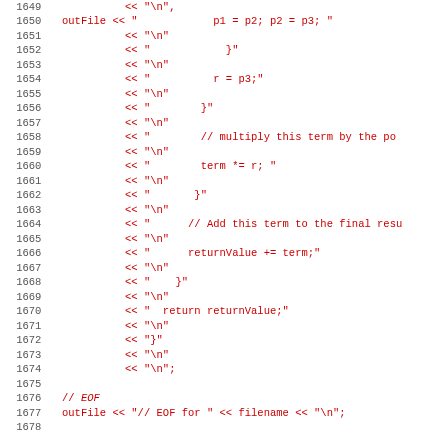Source code listing lines 1649-1678 showing C++ code generation with outFile stream operator, including p1=p2, p2=p3 assignments, return returnValue, closing braces, and EOF comment block.